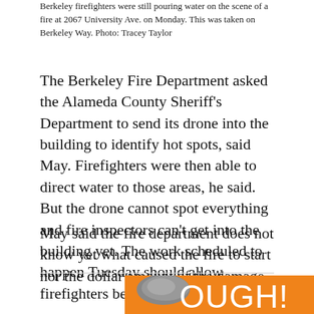Berkeley firefighters were still pouring water on the scene of a fire at 2067 University Ave. on Monday. This was taken on Berkeley Way. Photo: Tracey Taylor
The Berkeley Fire Department asked the Alameda County Sheriff's Department to send its drone into the building to identify hot spots, said May. Firefighters were then able to direct water to those areas, he said. But the drone cannot spot everything and fire inspectors can't get into the building yet. The work scheduled to happen Tuesday should allow firefighters better access.
May said the fire department does not know yet what caused the fire to start nor the dollar amount of the damage.
[Figure (other): Advertisement with orange background showing partial text 'OUGH' in white and a rock/stone image]